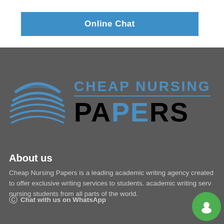[Figure (other): Blue 'Online Chat' button on white background]
[Figure (logo): Cheap Nursing Papers logo: blue stacked pages icon with text 'CHEAP NURSING PAPERS' where PE in PAPERS is highlighted in blue, on dark grey background]
About us
Cheap Nursing Papers is a leading academic writing agency created to offer exclusive writing services to students. academic writing serv nursing students from all parts of the world.
Chat with us on WhatsApp